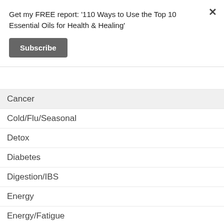Get my FREE report: '110 Ways to Use the Top 10 Essential Oils for Health & Healing'
Subscribe
Cancer
Cold/Flu/Seasonal
Detox
Diabetes
Digestion/IBS
Energy
Energy/Fatigue
Essential Oils
Beauty & Skincare
Diffuser Blends
Fall